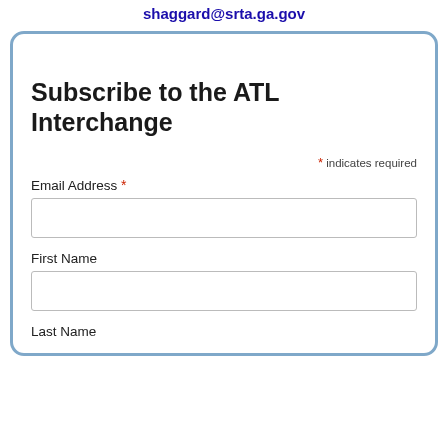shaggard@srta.ga.gov
Subscribe to the ATL Interchange
* indicates required
Email Address *
First Name
Last Name